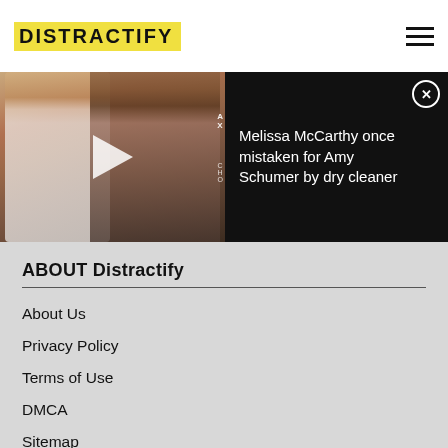DISTRACTIFY
[Figure (photo): Video thumbnail showing two women at an awards event with a play button overlay, next to a black panel reading 'Melissa McCarthy once mistaken for Amy Schumer by dry cleaner' with a close button]
ABOUT Distractify
About Us
Privacy Policy
Terms of Use
DMCA
Sitemap
CONNECT with Distractify